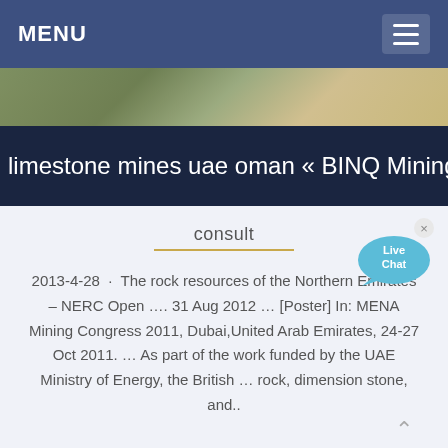MENU
[Figure (photo): Outdoor landscape/mining terrain photo strip]
limestone mines uae oman « BINQ Mining
consult
[Figure (illustration): Live Chat speech bubble icon with 'Live Chat' text and close X button]
2013-4-28 · The rock resources of the Northern Emirates – NERC Open …. 31 Aug 2012 … [Poster] In: MENA Mining Congress 2011, Dubai,United Arab Emirates, 24-27 Oct 2011. … As part of the work funded by the UAE Ministry of Energy, the British … rock, dimension stone, and..